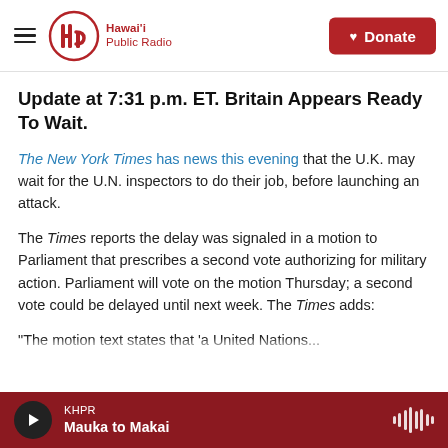Hawai'i Public Radio | Donate
Update at 7:31 p.m. ET. Britain Appears Ready To Wait.
The New York Times has news this evening that the U.K. may wait for the U.N. inspectors to do their job, before launching an attack.
The Times reports the delay was signaled in a motion to Parliament that prescribes a second vote authorizing for military action. Parliament will vote on the motion Thursday; a second vote could be delayed until next week. The Times adds:
"The motion text states that 'a United Nations...
KHPR | Mauka to Makai